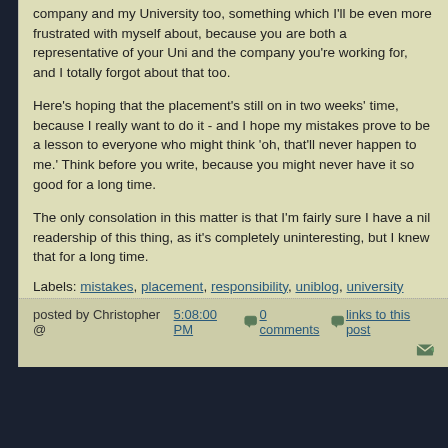company and my University too, something which I'll be even more frustrated with myself about, because you are both a representative of your Uni and the company you're working for, and I totally forgot about that too.
Here's hoping that the placement's still on in two weeks' time, because I really want to do it - and I hope my mistakes prove to be a lesson to everyone who might think 'oh, that'll never happen to me.' Think before you write, because you might never have it so good for a long time.
The only consolation in this matter is that I'm fairly sure I have a nil readership of this thing, as it's completely uninteresting, but I knew that for a long time.
Labels: mistakes, placement, responsibility, uniblog, university
posted by Christopher @ 5:08:00 PM   0 comments   links to this post